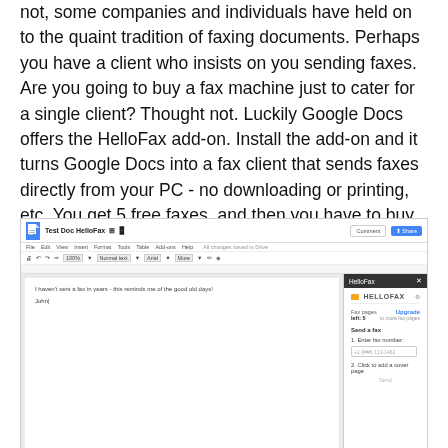not, some companies and individuals have held on to the quaint tradition of faxing documents. Perhaps you have a client who insists on you sending faxes. Are you going to buy a fax machine just to cater for a single client? Thought not. Luckily Google Docs offers the HelloFax add-on. Install the add-on and it turns Google Docs into a fax client that sends faxes directly from your PC - no downloading or printing, etc. You get 5 free faxes, and then you have to buy more, but in my experience 5 free faxes could keep you going for a couple of years!
[Figure (screenshot): Screenshot of Google Docs with HelloFax add-on panel open. The document contains text 'I haven't sent a fax in years - this reminds me of the good old days!' and 'John'. The HelloFax sidebar shows options to send a fax: fax pages left 5, Upgrade to more fax pages, Send a fax, 1. Enter fax number, 2. Click to add a cover page, Send button.]